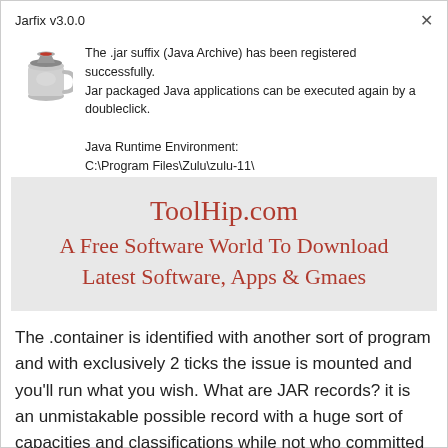Jarfix v3.0.0
[Figure (illustration): Small icon of a coffee cup or jar with a red hat, representing a Java archive application]
The .jar suffix (Java Archive) has been registered successfully. Jar packaged Java applications can be executed again by a doubleclick.

Java Runtime Environment:
C:\Program Files\Zulu\zulu-11\
[Figure (infographic): Grey banner advertisement for ToolHip.com with text: ToolHip.com A Free Software World To Download Latest Software, Apps & Gmaes]
The .container is identified with another sort of program and with exclusively 2 ticks the issue is mounted and you'll run what you wish. What are JAR records? it is an unmistakable possible record with a huge sort of capacities and classifications while not who committed application won't run and 'present' you bug and mistakes. you have to introduce the